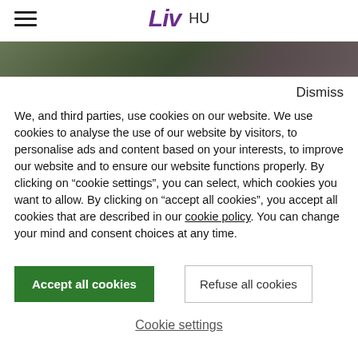[Figure (screenshot): Website header with hamburger menu icon on the left, Liv logo (purple italic) in the center, and 'HU' language selector to the right of the logo]
[Figure (photo): Partial hero image showing cyclists or people in an outdoor/forest setting, cropped to a narrow horizontal strip]
Dismiss
We, and third parties, use cookies on our website. We use cookies to analyse the use of our website by visitors, to personalise ads and content based on your interests, to improve our website and to ensure our website functions properly. By clicking on “cookie settings”, you can select, which cookies you want to allow. By clicking on “accept all cookies”, you accept all cookies that are described in our cookie policy. You can change your mind and consent choices at any time.
Accept all cookies
Refuse all cookies
Cookie settings